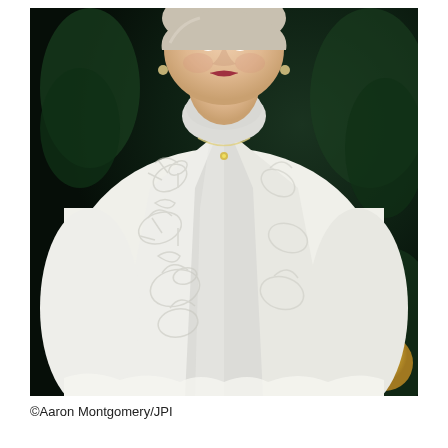[Figure (photo): A woman wearing a white embroidered floral jacket over a white satin turtleneck blouse with a delicate necklace, photographed in front of a Christmas tree with greenery and a gold ornament visible in the background.]
©Aaron Montgomery/JPI